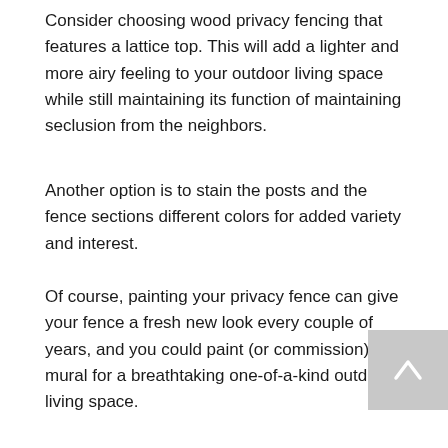Consider choosing wood privacy fencing that features a lattice top. This will add a lighter and more airy feeling to your outdoor living space while still maintaining its function of maintaining seclusion from the neighbors.
Another option is to stain the posts and the fence sections different colors for added variety and interest.
Of course, painting your privacy fence can give your fence a fresh new look every couple of years, and you could paint (or commission) a mural for a breathtaking one-of-a-kind outdoor living space.
[Figure (other): Scroll-to-top button arrow icon, light grey background]